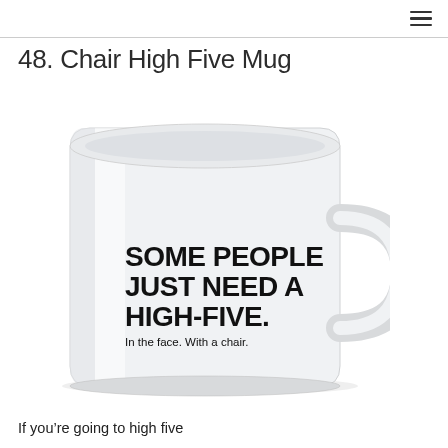48. Chair High Five Mug
[Figure (photo): White ceramic mug with bold black text reading 'SOME PEOPLE JUST NEED A HIGH-FIVE. In the face. With a chair.']
If you’re going to high five